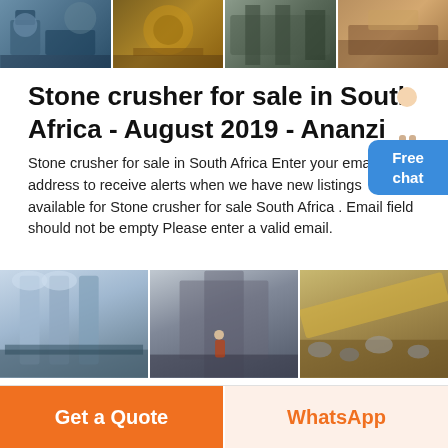[Figure (photo): Top banner strip showing four industrial stone crusher equipment photos side by side]
Stone crusher for sale in South Africa - August 2019 - Ananzi
Stone crusher for sale in South Africa Enter your email address to receive alerts when we have new listings available for Stone crusher for sale South Africa . Email field should not be empty Please enter a valid email.
[Figure (photo): Three industrial stone crusher/mill equipment photos side by side: vertical mill machinery, industrial interior with workers, and conveyor belt stone crusher]
Get a Quote
WhatsApp